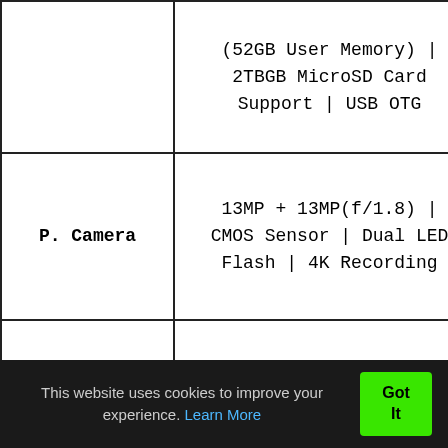| Feature | Details |
| --- | --- |
|  | (52GB User Memory) | 2TBGB MicroSD Card Support | USB OTG |
| P. Camera | 13MP + 13MP(f/1.8) | CMOS Sensor | Dual LED Flash | 4K Recording |
| F. Camera | 5MP (f/2.0) | Full HD Recording | LED Flash |
| Battery | 3300-mAh Li-ion | Quick |
This website uses cookies to improve your experience. Learn More   Got It